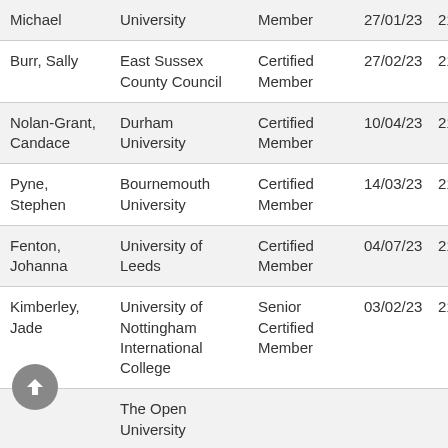| Name | Institution | Membership Type | Date | Number |
| --- | --- | --- | --- | --- |
| Michael | University | Member | 27/01/23 | 210421 |
| Burr, Sally | East Sussex County Council | Certified Member | 27/02/23 | 210487 |
| Nolan-Grant, Candace | Durham University | Certified Member | 10/04/23 | 210481 |
| Pyne, Stephen | Bournemouth University | Certified Member | 14/03/23 | 210471 |
| Fenton, Johanna | University of Leeds | Certified Member | 04/07/23 | 210462 |
| Kimberley, Jade | University of Nottingham International College | Senior Certified Member | 03/02/23 | 210461 |
|  | The Open University |  |  |  |